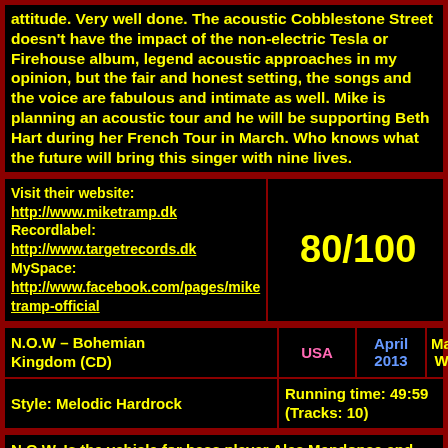attitude. Very well done. The acoustic Cobblestone Street doesn't have the impact of the non-electric Tesla or Firehouse album, legend acoustic approaches in my opinion, but the fair and honest setting, the songs and the voice are fabulous and intimate as well. Mike is planning an acoustic tour and he will be supporting Beth Hart during her French Tour in March. Who knows what the future will bring this singer with nine lives.
Visit their website: http://www.miketramp.dk Recordlabel: http://www.targetrecords.dk MySpace: http://www.facebook.com/pages/miketramp-official
80/100
| Album | Country | Date | Reviewer |
| --- | --- | --- | --- |
| N.O.W – Bohemian Kingdom (CD) | USA | April 2013 | Manfred Werger |
| Style: Melodic Hardrock | Running time: 49:59 (Tracks: 10) |  |  |
N.O.W. Is the vehicle for bass player Alec Mendonca and his musical friends Juno Moraes (lead and rhythm guitar), Brazilian musicians at its highest...